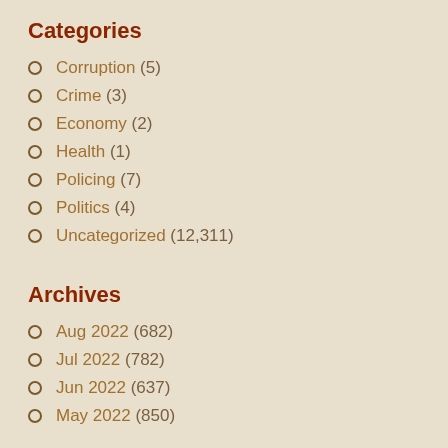Categories
Corruption (5)
Crime (3)
Economy (2)
Health (1)
Policing (7)
Politics (4)
Uncategorized (12,311)
Archives
Aug 2022 (682)
Jul 2022 (782)
Jun 2022 (637)
May 2022 (850)